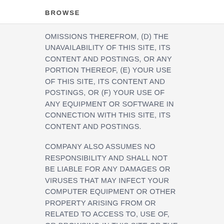BROWSE
OMISSIONS THEREFROM, (D) THE UNAVAILABILITY OF THIS SITE, ITS CONTENT AND POSTINGS, OR ANY PORTION THEREOF, (E) YOUR USE OF THIS SITE, ITS CONTENT AND POSTINGS, OR (F) YOUR USE OF ANY EQUIPMENT OR SOFTWARE IN CONNECTION WITH THIS SITE, ITS CONTENT AND POSTINGS.
COMPANY ALSO ASSUMES NO RESPONSIBILITY AND SHALL NOT BE LIABLE FOR ANY DAMAGES OR VIRUSES THAT MAY INFECT YOUR COMPUTER EQUIPMENT OR OTHER PROPERTY ARISING FROM OR RELATED TO ACCESS TO, USE OF, OR BROWSING IN THIS SITE OR THE DOWNLOADING OF ANY